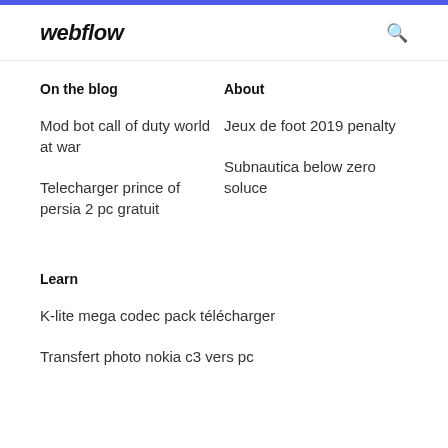webflow
On the blog
About
Mod bot call of duty world at war
Jeux de foot 2019 penalty
Telecharger prince of persia 2 pc gratuit
Subnautica below zero soluce
Learn
K-lite mega codec pack télécharger
Transfert photo nokia c3 vers pc